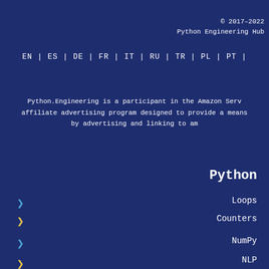© 2017–2022
Python Engineering Hub
EN | ES | DE | FR | IT | RU | TR | PL | PT |
Python.Engineering is a participant in the Amazon Serv... affiliate advertising program designed to provide a means ... by advertising and linking to am...
Python
Loops
Counters
NumPy
NLP
Regular Expressions